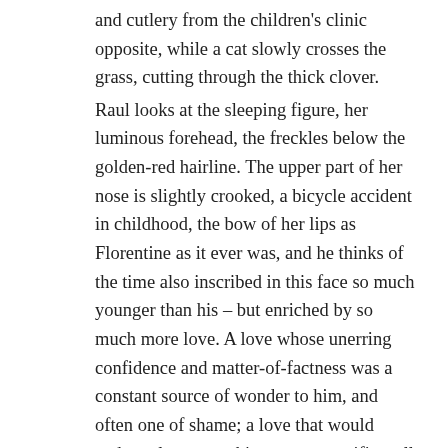and cutlery from the children's clinic opposite, while a cat slowly crosses the grass, cutting through the thick clover.
Raul looks at the sleeping figure, her luminous forehead, the freckles below the golden-red hairline. The upper part of her nose is slightly crooked, a bicycle accident in childhood, the bow of her lips as Florentine as it ever was, and he thinks of the time also inscribed in this face so much younger than his – but enriched by so much more love. A love whose unerring confidence and matter-of-factness was a constant source of wonder to him, and often one of shame; a love that would endure almost anything, every sacrifice, all of his moods, his acts of unfairness and brutality; a love always wiser than either of them and able to stand even the fiercest of trials. After one separation of almost eight months during which they neither spoke nor wrote to each other he had phoned her